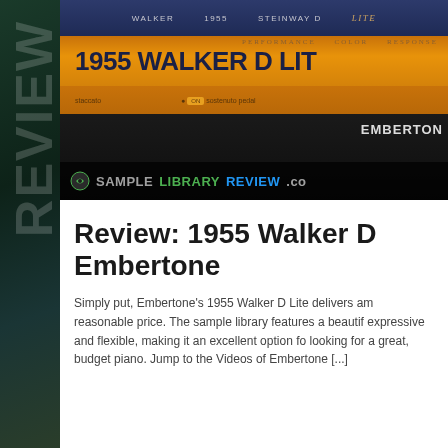[Figure (screenshot): Screenshot of the 1955 Walker D Lite plugin UI by Embertone, showing the plugin interface with orange/gold color scheme, PERFORMANCE/COLOR/RESPONSE tabs, large title text '1955 WALKER D LIT', staccato and sostenuto pedal controls, and Sample Library Review watermark at bottom.]
Review: 1955 Walker D Embertone
Simply put, Embertone's 1955 Walker D Lite delivers am reasonable price. The sample library features a beautif expressive and flexible, making it an excellent option fo looking for a great, budget piano. Jump to the Videos of Embertone [...]